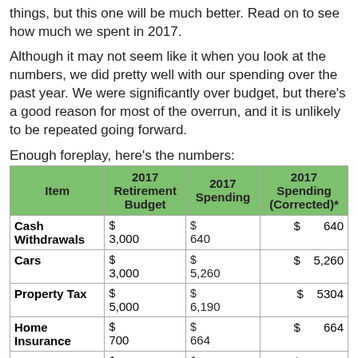things, but this one will be much better. Read on to see how much we spent in 2017.
Although it may not seem like it when you look at the numbers, we did pretty well with our spending over the past year. We were significantly over budget, but there's a good reason for most of the overrun, and it is unlikely to be repeated going forward.
Enough foreplay, here's the numbers:
| Item | 2017 Retirement Budget | 2017 Spending | 2017 Spending (Corrected)* |
| --- | --- | --- | --- |
| Cash Withdrawals | $ 3,000 | $ 640 | $ 640 |
| Cars | $ 3,000 | $ 5,260 | $ 5,260 |
| Property Tax | $ 5,000 | $ 6,190 | $ 5304 |
| Home Insurance | $ 700 | $ 664 | $ 664 |
| Home Improvement | $ 1,000 | $ 3,255 | $ 3,255 |